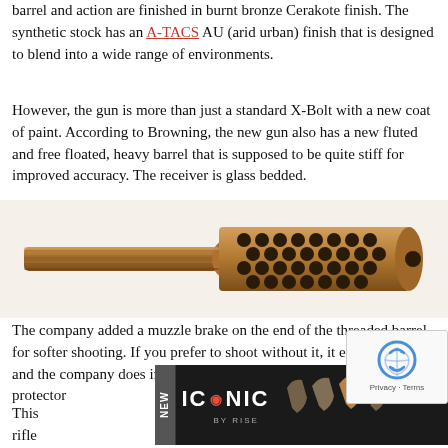barrel and action are finished in burnt bronze Cerakote finish. The synthetic stock has an A-TACS AU (arid urban) finish that is designed to blend into a wide range of environments.
However, the gun is more than just a standard X-Bolt with a new coat of paint. According to Browning, the new gun also has a new fluted and free floated, heavy barrel that is supposed to be quite stiff for improved accuracy. The receiver is glass bedded.
[Figure (photo): Close-up photo of a burnt bronze Cerakote finished rifle barrel showing fluting and muzzle brake with honeycomb/circular perforations]
The company added a muzzle brake on the end of the threaded barrel for softer shooting. If you prefer to shoot without it, it easily removes, and the company does include a thread protector rifle.
[Figure (photo): Advertisement banner for ICONIC by RISE with NEW label on dark background showing rifle triggers]
[Figure (other): reCAPTCHA widget with Privacy - Terms]
This rifle and an